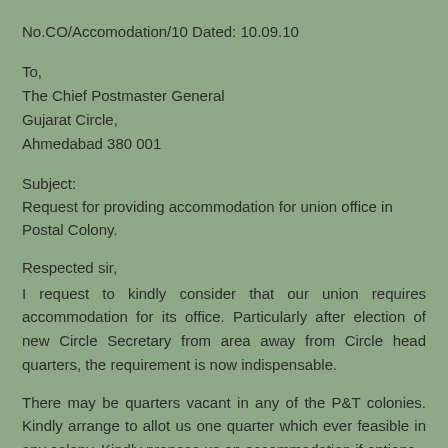No.CO/Accomodation/10 Dated: 10.09.10
To,
The Chief Postmaster General
Gujarat Circle,
Ahmedabad 380 001
Subject:
Request for providing accommodation for union office in Postal Colony.
Respected sir,
I request to kindly consider that our union requires accommodation for its office. Particularly after election of new Circle Secretary from area away from Circle head quarters, the requirement is now indispensable.
There may be quarters vacant in any of the P&T colonies. Kindly arrange to allot us one quarter which ever feasible in any colony. Kindly propose us an accommodation if options are available. We shall send at once our representative to look